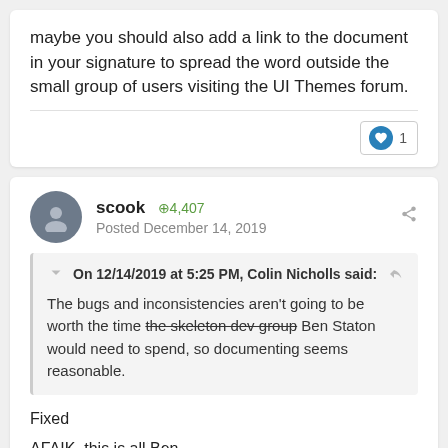maybe you should also add a link to the document in your signature to spread the word outside the small group of users visiting the UI Themes forum.
scook  +4,407  Posted December 14, 2019
On 12/14/2019 at 5:25 PM, Colin Nicholls said:
The bugs and inconsistencies aren't going to be worth the time the skeleton dev group Ben Staton would need to spend, so documenting seems reasonable.
Fixed
AFAIK, this is all Ben